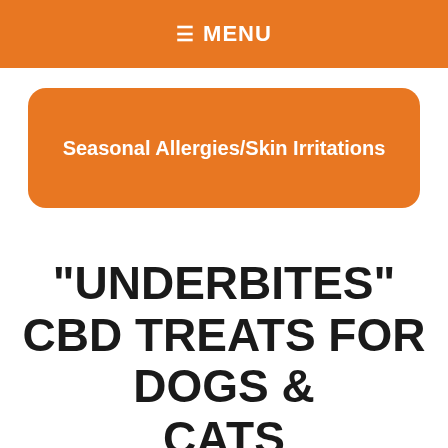≡ MENU
Seasonal Allergies/Skin Irritations
"UNDERBITES" CBD TREATS FOR DOGS & CATS